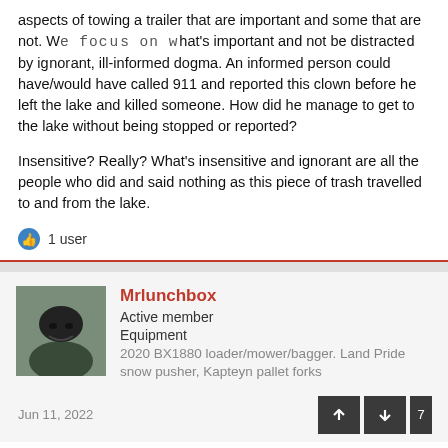aspects of towing a trailer that are important and some that are not. We focus on what's important and not be distracted by ignorant, ill-informed dogma. An informed person could have/would have called 911 and reported this clown before he left the lake and killed someone. How did he manage to get to the lake without being stopped or reported?
Insensitive? Really? What's insensitive and ignorant are all the people who did and said nothing as this piece of trash travelled to and from the lake.
1 user
Mrlunchbox
Active member
Equipment
2020 BX1880 loader/mower/bagger. Land Pride snow pusher, Kapteyn pallet forks
Jun 11, 2022